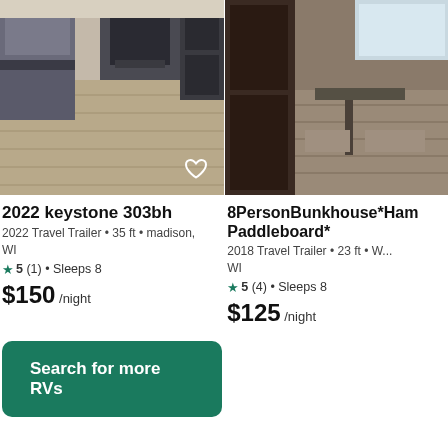[Figure (photo): Interior photo of 2022 Keystone 303bh travel trailer showing wood-look flooring, bunk area and living space]
[Figure (photo): Interior photo of 8PersonBunkhouse travel trailer showing bunk beds and dinette area]
2022 keystone 303bh
2022 Travel Trailer • 35 ft • madison, WI
★5 (1) • Sleeps 8
$150 /night
8PersonBunkhouse*Ham... Paddleboard*
2018 Travel Trailer • 23 ft • W... WI
★5 (4) • Sleeps 8
$125 /night
Search for more RVs
How to rent a RV on Outdoorsy